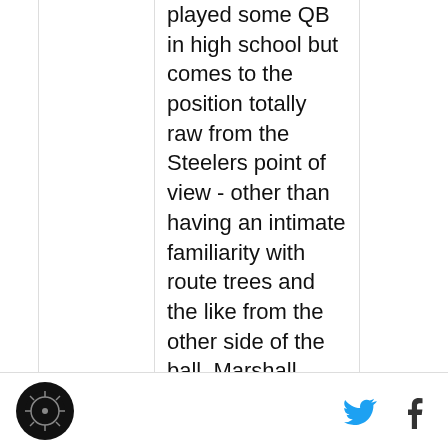played some QB in high school but comes to the position totally raw from the Steelers point of view - other than having an intimate familiarity with route trees and the like from the other side of the ball. Marshall might prove to be a real find on Day 3 if his general level of athleticism and football IQ are enough to carry over. Keep an eye on the pundits for this one - we really have no information on whether Marshall possesses the loose hips and other physical traits required to excel in coverage. This NFL.com article from November contains additional background and deserves extra credit for 'calling the shot' before anyone else.

The word out of the Senior Bowl
[logo] [twitter] [facebook]